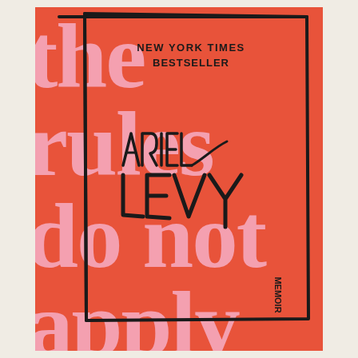[Figure (illustration): Book cover of 'The Rules Do Not Apply' by Ariel Levy. Orange/coral background with large pink serif text reading 'the rules do not apply' partially visible. A hand-drawn black rectangular border frame is on the cover. In the upper right, text reads 'NEW YORK TIMES BESTSELLER' in small caps. The author name 'ARIEL LEVY' is written in large hand-drawn/sketched black lettering in the center. In the lower right corner the word 'MEMOIR' appears vertically.]